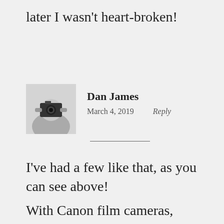later I wasn't heart-broken!
[Figure (photo): Black and white photo of Dan James holding a camera up to his face]
Dan James
March 4, 2019    Reply
I've had a few like that, as you can see above!
With Canon film cameras,